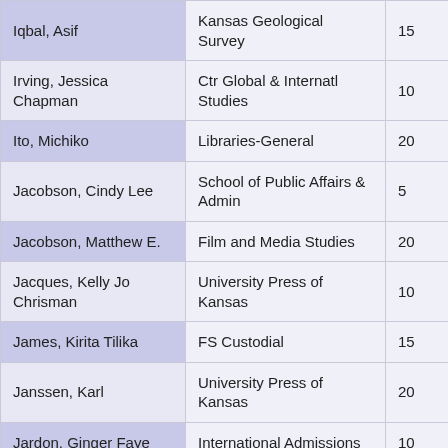| Name | Department | Number |
| --- | --- | --- |
| Iqbal, Asif | Kansas Geological Survey | 15 |
| Irving, Jessica Chapman | Ctr Global & Internatl Studies | 10 |
| Ito, Michiko | Libraries-General | 20 |
| Jacobson, Cindy Lee | School of Public Affairs & Admin | 5 |
| Jacobson, Matthew E. | Film and Media Studies | 20 |
| Jacques, Kelly Jo Chrisman | University Press of Kansas | 10 |
| James, Kirita Tilika | FS Custodial | 15 |
| Janssen, Karl | University Press of Kansas | 20 |
| Jardon, Ginger Faye | International Admissions | 10 |